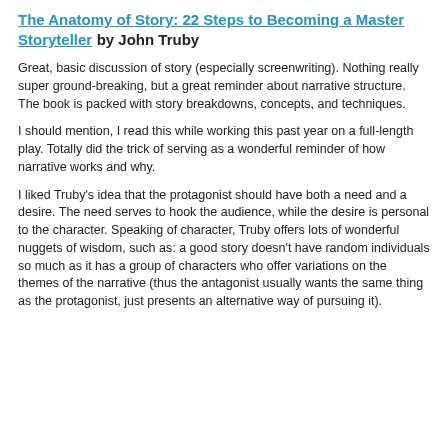The Anatomy of Story: 22 Steps to Becoming a Master Storyteller by John Truby
Great, basic discussion of story (especially screenwriting). Nothing really super ground-breaking, but a great reminder about narrative structure.  The book is packed with story breakdowns, concepts, and techniques.
I should mention, I read this while working this past year on a full-length play. Totally did the trick of serving as a wonderful reminder of how narrative works and why.
I liked Truby's idea that the protagonist should have both a need and a desire. The need serves to hook the audience, while the desire is personal to the character. Speaking of character, Truby offers lots of wonderful nuggets of wisdom, such as: a good story doesn't have random individuals so much as it has a group of characters who offer variations on the themes of the narrative (thus the antagonist usually wants the same thing as the protagonist, just presents an alternative way of pursuing it).